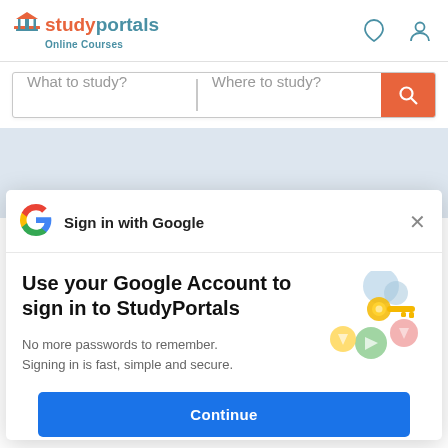studyportals Online Courses
What to study?
Where to study?
Sign in with Google
Use your Google Account to sign in to StudyPortals
No more passwords to remember.
Signing in is fast, simple and secure.
[Figure (illustration): Google sign-in key illustration with colorful icons]
Continue